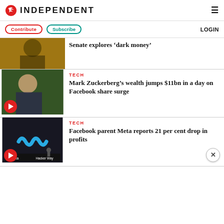INDEPENDENT
Contribute | Subscribe | LOGIN
Senate explores 'dark money'
[Figure (photo): Photo of a man in a suit speaking]
TECH
Mark Zuckerberg's wealth jumps $11bn in a day on Facebook share surge
[Figure (photo): Photo of Mark Zuckerberg smiling outdoors with video play button overlay]
TECH
Facebook parent Meta reports 21 per cent drop in profits
[Figure (photo): Photo of Meta logo sign outside Hacker Way building with video play button overlay]